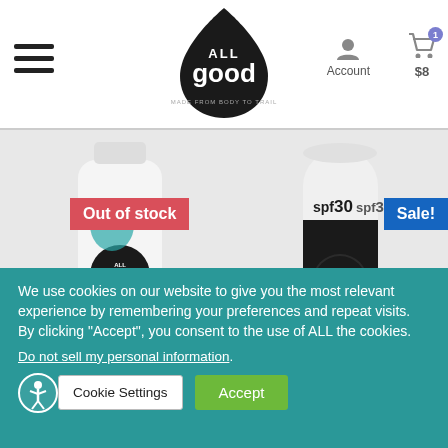All Good — Account | $8 cart
[Figure (photo): All Good Sport Sunscreen tube product with teal coloring and All Good logo, 'Out of stock' badge in red]
[Figure (photo): All Good SPF30 sunscreen stick product, 'Sale!' badge in blue]
We use cookies on our website to give you the most relevant experience by remembering your preferences and repeat visits. By clicking "Accept", you consent to the use of ALL the cookies.
Do not sell my personal information.
Cookie Settings  Accept